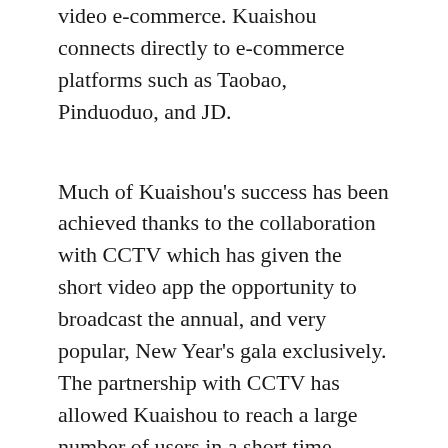video e-commerce. Kuaishou connects directly to e-commerce platforms such as Taobao, Pinduoduo, and JD.
Much of Kuaishou's success has been achieved thanks to the collaboration with CCTV which has given the short video app the opportunity to broadcast the annual, and very popular, New Year's gala exclusively. The partnership with CCTV has allowed Kuaishou to reach a large number of users in a short time.
The popularity of Kuaishou among the public is purely given by the high content proposed and the potential profit that can arise. Sellers get the attention of users through short videos and then profit from advertising on their accounts.